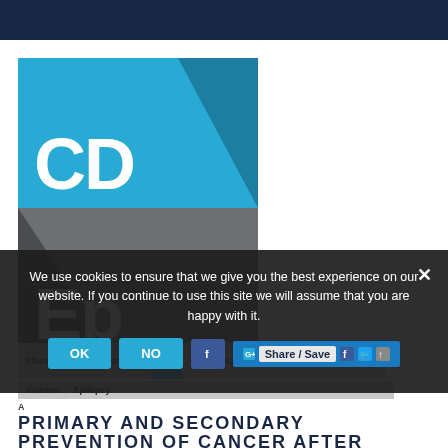[Figure (logo): CD Ep logo — two-tone square: upper half bright blue with white 'CD' text and dark teal triangle; lower half gray with white 'Ep' text and darker gray triangle]
Pharmacological treatment | Cerebrovascular disease | Epilepsy
A PRIMARY AND SECONDARY PREVENTION OF CANCER AFTER INTRACRANIAL VENOUS
We use cookies to ensure that we give you the best experience on our website. If you continue to use this site we will assume that you are happy with it.
OK  NO  F  Share / Save